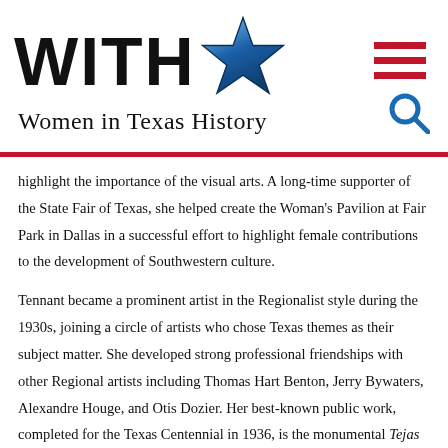[Figure (logo): Women in Texas History logo with stylized WITH text, blue star, and subtitle 'Women in Texas History']
highlight the importance of the visual arts. A long-time supporter of the State Fair of Texas, she helped create the Woman's Pavilion at Fair Park in Dallas in a successful effort to highlight female contributions to the development of Southwestern culture.
Tennant became a prominent artist in the Regionalist style during the 1930s, joining a circle of artists who chose Texas themes as their subject matter. She developed strong professional friendships with other Regional artists including Thomas Hart Benton, Jerry Bywaters, Alexandre Houge, and Otis Dozier. Her best-known public work, completed for the Texas Centennial in 1936, is the monumental Tejas Warrior, which still stands at the Hall of State at Fair Park. Many of her sculptures are in the Dallas